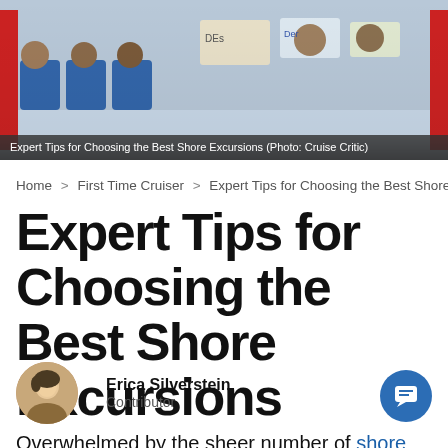[Figure (photo): Photo of colorful bus or tuk-tuk with passengers, viewed from inside/behind, with signage visible. Credit: Cruise Critic.]
Expert Tips for Choosing the Best Shore Excursions (Photo: Cruise Critic)
Home > First Time Cruiser > Expert Tips for Choosing the Best Shore Exc
Expert Tips for Choosing the Best Shore Excursions
Erica Silverstein
Contributor
Overwhelmed by the sheer number of shore